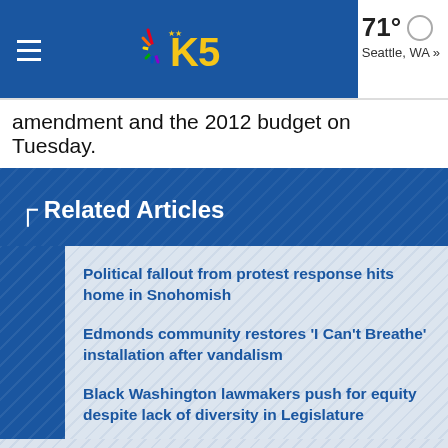KING5 — 71° Seattle, WA »
amendment and the 2012 budget on Tuesday.
Related Articles
Political fallout from protest response hits home in Snohomish
Edmonds community restores 'I Can't Breathe' installation after vandalism
Black Washington lawmakers push for equity despite lack of diversity in Legislature